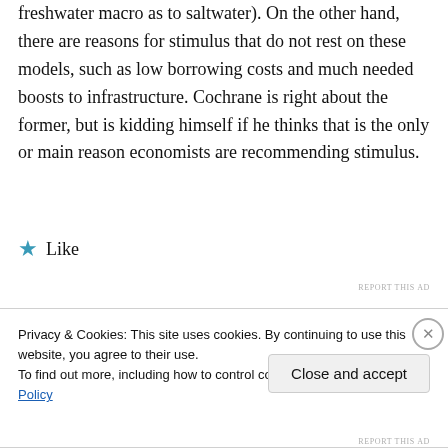freshwater macro as to saltwater). On the other hand, there are reasons for stimulus that do not rest on these models, such as low borrowing costs and much needed boosts to infrastructure. Cochrane is right about the former, but is kidding himself if he thinks that is the only or main reason economists are recommending stimulus.
★ Like
REPORT THIS AD
Privacy & Cookies: This site uses cookies. By continuing to use this website, you agree to their use.
To find out more, including how to control cookies, see here: Cookie Policy
Close and accept